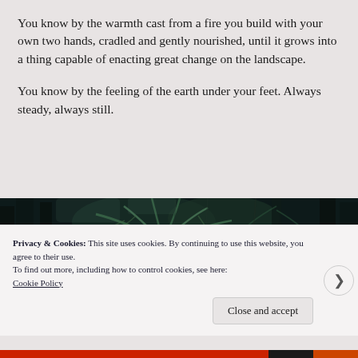You know by the warmth cast from a fire you build with your own two hands, cradled and gently nourished, until it grows into a thing capable of enacting great change on the landscape.
You know by the feeling of the earth under your feet. Always steady, always still.
[Figure (photo): Dark atmospheric forest photograph showing silhouetted trees with fern or palm-like foliage against a deep dark background with subtle blue-green tones.]
Privacy & Cookies: This site uses cookies. By continuing to use this website, you agree to their use.
To find out more, including how to control cookies, see here: Cookie Policy
Close and accept